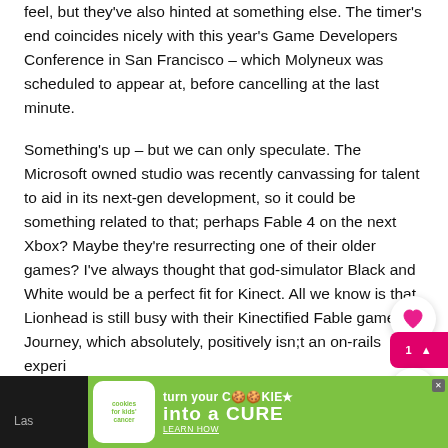feel, but they've also hinted at something else. The timer's end coincides nicely with this year's Game Developers Conference in San Francisco – which Molyneux was scheduled to appear at, before cancelling at the last minute.
Something's up – but we can only speculate. The Microsoft owned studio was recently canvassing for talent to aid in its next-gen development, so it could be something related to that; perhaps Fable 4 on the next Xbox? Maybe they're resurrecting one of their older games? I've always thought that god-simulator Black and White would be a perfect fit for Kinect. All we know is that Lionhead is still busy with their Kinectified Fable game, Journey, which absolutely, positively isn;t an on-rails experi
What could it be?
[Figure (other): Advertisement banner for cookies for kids cancer charity: turn your cookies into a CURE, learn how]